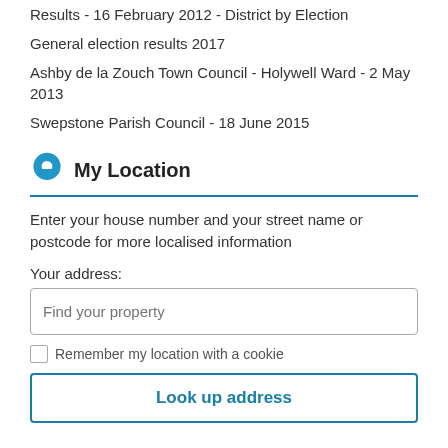Results - 16 February 2012 - District by Election
General election results 2017
Ashby de la Zouch Town Council - Holywell Ward - 2 May 2013
Swepstone Parish Council - 18 June 2015
My Location
Enter your house number and your street name or postcode for more localised information
Your address:
Find your property
Remember my location with a cookie
Look up address